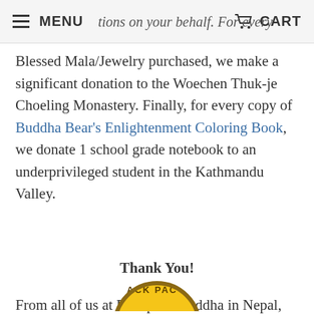MENU  [partial: ...tions on your behalf. For every]  CART
Blessed Mala/Jewelry purchased, we make a significant donation to the Woechen Thuk-je Choeling Monastery. Finally, for every copy of Buddha Bear's Enlightenment Coloring Book, we donate 1 school grade notebook to an underprivileged student in the Kathmandu Valley.
Thank You!
From all of us at Backpack Buddha in Nepal, Thailand, Guatemala and the USA, we wish you the greatest inner peace, self-love, discipline, and happiness on your path.
[Figure (logo): Backpack Buddha circular logo, partially visible at bottom of page]